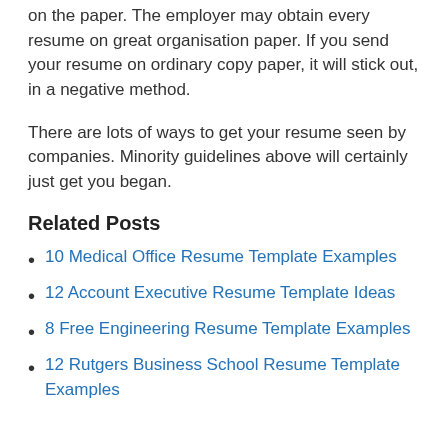on the paper. The employer may obtain every resume on great organisation paper. If you send your resume on ordinary copy paper, it will stick out, in a negative method.
There are lots of ways to get your resume seen by companies. Minority guidelines above will certainly just get you began.
Related Posts
10 Medical Office Resume Template Examples
12 Account Executive Resume Template Ideas
8 Free Engineering Resume Template Examples
12 Rutgers Business School Resume Template Examples